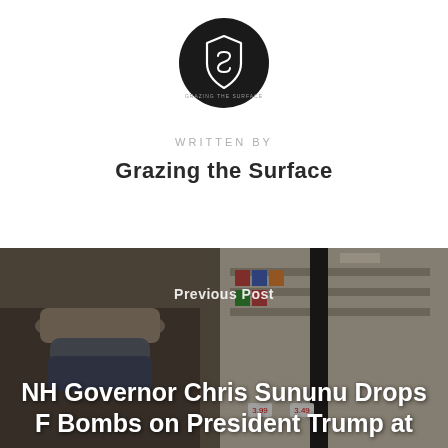[Figure (logo): Circular black logo with a stylized shield/S icon and text 'GRAZING THE SURFACE' at the bottom of the circle]
WRITTEN BY
Grazing the Surface
[Figure (photo): Photo of a person wearing a tan baseball cap and a blue bandana face covering, standing in front of a store with glass refrigerator doors and colorful packaged goods visible in the background]
Previous Post
NH Governor Chris Sununu Drops F Bombs on President Trump at